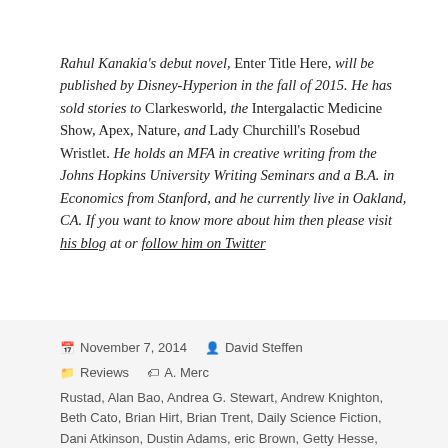Rahul Kanakia's debut novel, Enter Title Here, will be published by Disney-Hyperion in the fall of 2015. He has sold stories to Clarkesworld, the Intergalactic Medicine Show, Apex, Nature, and Lady Churchill's Rosebud Wristlet. He holds an MFA in creative writing from the Johns Hopkins University Writing Seminars and a B.A. in Economics from Stanford, and he currently live in Oakland, CA. If you want to know more about him then please visit his blog at or follow him on Twitter
November 7, 2014  David Steffen  Reviews  A. Merc Rustad, Alan Bao, Andrea G. Stewart, Andrew Knighton, Beth Cato, Brian Hirt, Brian Trent, Daily Science Fiction, Dani Atkinson, Dustin Adams, eric Brown, Getty Hesse, James Hanzelka, Jonathan Laden, Karl El-Koura, Ken Gerber, L.L Phelps, Liz Argall, Megan Arkenberg, Michele Barasso, Mur Lafferty, Rahul Kanakia, Ronald D. Ferguson,